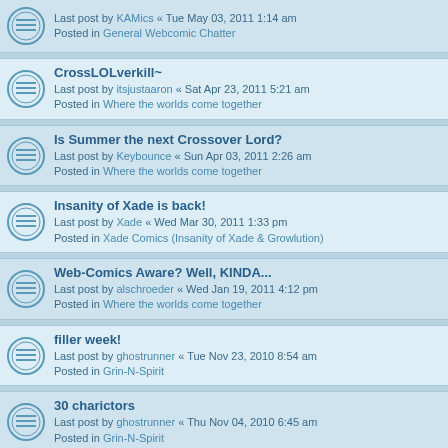Last post by KAMics « Tue May 03, 2011 1:14 am
Posted in General Webcomic Chatter
CrossLOLverkill~
Last post by itsjustaaron « Sat Apr 23, 2011 5:21 am
Posted in Where the worlds come together
Is Summer the next Crossover Lord?
Last post by Keybounce « Sun Apr 03, 2011 2:26 am
Posted in Where the worlds come together
Insanity of Xade is back!
Last post by Xade « Wed Mar 30, 2011 1:33 pm
Posted in Xade Comics (Insanity of Xade & Growlution)
Web-Comics Aware? Well, KINDA...
Last post by alschroeder « Wed Jan 19, 2011 4:12 pm
Posted in Where the worlds come together
filler week!
Last post by ghostrunner « Tue Nov 23, 2010 8:54 am
Posted in Grin-N-Spirit
30 charictors
Last post by ghostrunner « Thu Nov 04, 2010 6:45 am
Posted in Grin-N-Spirit
dating
Last post by ghostrunner « Sat Oct 23, 2010 10:05 am
Posted in Grin-N-Spirit
Seeking Comic Artist for crossover collaboration!
Last post by Taversia « Mon Sep 27, 2010 1:40 am
Posted in Where the worlds come together